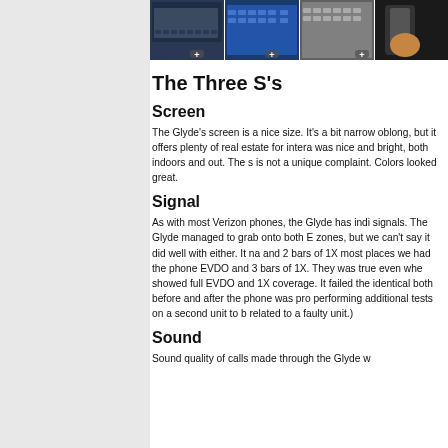[Figure (photo): Photo strip showing three device/keyboard images with zoom plus icons]
The Three S's
Screen
The Glyde's screen is a nice size. It's a bit narrow oblong, but it offers plenty of real estate for intera was nice and bright, both indoors and out. The s is not a unique complaint. Colors looked great.
Signal
As with most Verizon phones, the Glyde has indi signals. The Glyde managed to grab onto both E zones, but we can't say it did well with either. It na and 2 bars of 1X most places we had the phone EVDO and 3 bars of 1X. They was true even whe showed full EVDO and 1X coverage. It failed the identical both before and after the phone was pro performing additional tests on a second unit to b related to a faulty unit.)
Sound
Sound quality of calls made through the Glyde w